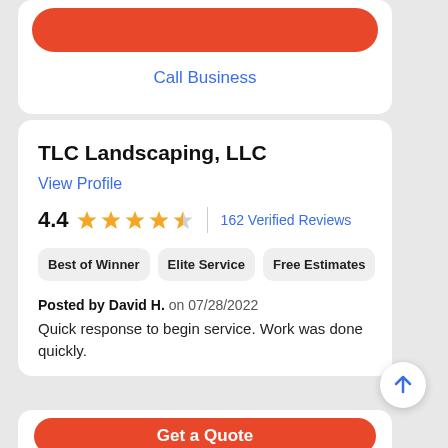Call Business
TLC Landscaping, LLC
View Profile
4.4  162 Verified Reviews
Best of Winner
Elite Service
Free Estimates
Posted by David H. on 07/28/2022
Quick response to begin service. Work was done quickly.
Get a Quote